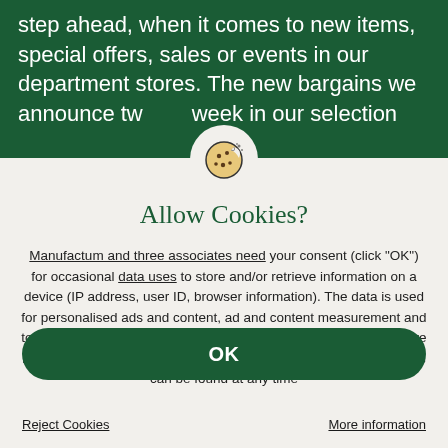step ahead, when it comes to new items, special offers, sales or events in our department stores. The new bargains we announce tw… week in our selection
[Figure (illustration): Cookie icon — a cookie with a bite taken out, shown in a white circle overlapping the green banner and the modal dialog below]
Allow Cookies?
Manufactum and three associates need your consent (click "OK") for occasional data uses to store and/or retrieve information on a device (IP address, user ID, browser information). The data is used for personalised ads and content, ad and content measurement and to gain insights about target groups and product development. More information on consent (incl. revocation options) and setting options can be found at any time
OK
Reject Cookies
More information